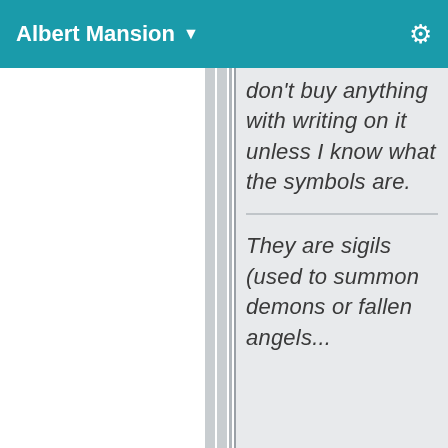Albert Mansion ▼
don't buy anything with writing on it unless I know what the symbols are.
They are sigils (used to summon demons or fallen angels...